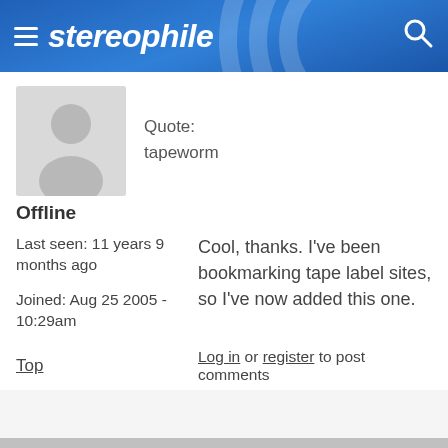stereophile
[Figure (illustration): Default user avatar placeholder silhouette in gray]
Quote:
tapeworm
Offline
Last seen: 11 years 9 months ago
Cool, thanks. I've been bookmarking tape label sites, so I've now added this one.
Joined: Aug 25 2005 - 10:29am
Top
Log in or register to post comments